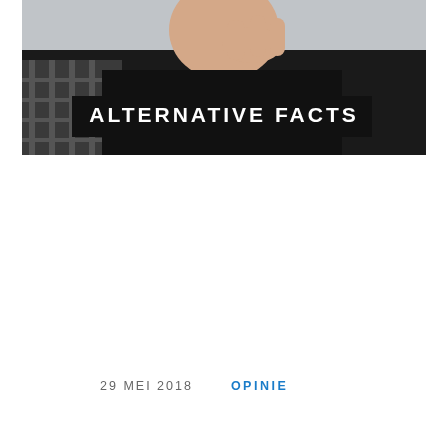[Figure (photo): Person wearing a black hoodie/jacket against a grey background, shown from roughly chest up, with hand raised near face. A black banner overlay reads 'ALTERNATIVE FACTS' in bold white uppercase letters.]
29 MEI 2018
OPINIE